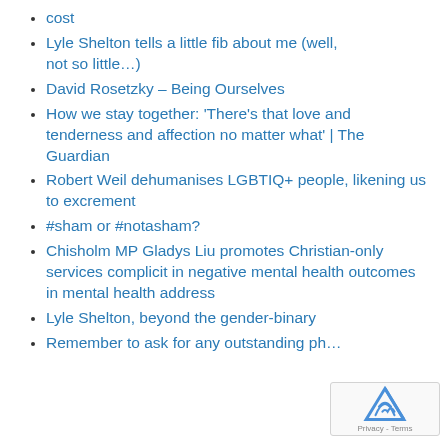cost
Lyle Shelton tells a little fib about me (well, not so little…)
David Rosetzky – Being Ourselves
How we stay together: 'There's that love and tenderness and affection no matter what' | The Guardian
Robert Weil dehumanises LGBTIQ+ people, likening us to excrement
#sham or #notasham?
Chisholm MP Gladys Liu promotes Christian-only services complicit in negative mental health outcomes in mental health address
Lyle Shelton, beyond the gender-binary
Remember to ask for any outstanding ph…